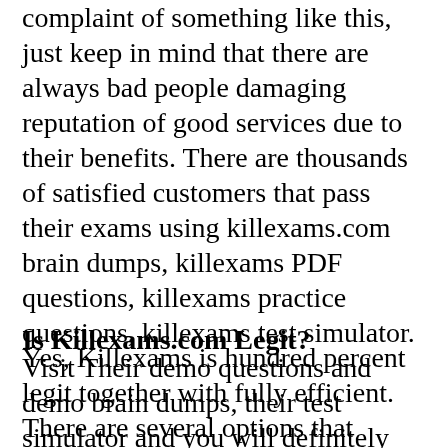complaint of something like this, just keep in mind that there are always bad people damaging reputation of good services due to their benefits. There are thousands of satisfied customers that pass their exams using killexams.com brain dumps, killexams PDF questions, killexams practice questions, killexams test simulator. Visit Their demo questions and demo brain dumps, their test simulator and you will definitely know that killexams.com is the best brain dumps site.
Is Killexams.com Legit?
Yes, Killexams is hundred percent legit together with fully efficient. There are several options that makes killexams.com traditional and legitimate. It provides latest